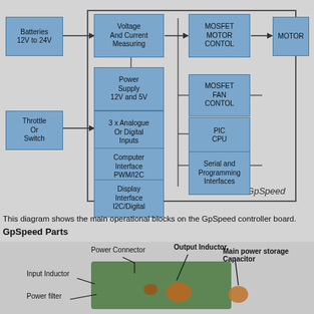[Figure (flowchart): Block diagram showing the main operational blocks on the GpSpeed controller board. Inputs: Batteries 12V to 24V, Throttle Or Switch. Internal blocks: Voltage And Current Measuring, Power Supply 12V and 5V, 3x Analogue Or Digital Inputs, Computer Interface PWM/I2C, Display Interface I2C/Digital. GpSpeed box contains: MOSFET MOTOR CONTOL, MOSFET FAN CONTOL, PIC CPU, Serial and Programming Interfaces. Output: MOTOR.]
This diagram shows the main operational blocks on the GpSpeed controller board.
GpSpeed Parts
[Figure (photo): Photo of GpSpeed controller board with labels pointing to: Power Connector, Output Inductor, Main power storage Capacitor, Input Inductor, Power filter, and Hall S...]